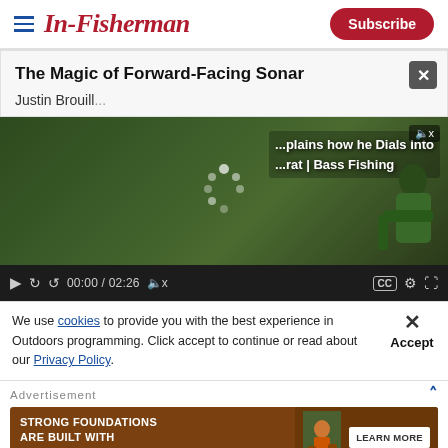In-Fisherman | Subscribe
The Magic of Forward-Facing Sonar
Justin Brouill...
[Figure (screenshot): Embedded video player showing a man fishing with bass fishing overlay text 'explains how he Dials Into ... | Bass Fishing'. Controls show 00:00 / 02:26.]
We use cookies to provide you with the best experience in Outdoors programming. Click accept to continue or read about our Privacy Policy.
Advertisement
[Figure (photo): Advertisement banner: STRONG FOUNDATIONS ARE BUILT WITH PREMIUM NUTRITION with LEARN MORE button and outdoor hunting scene photo]